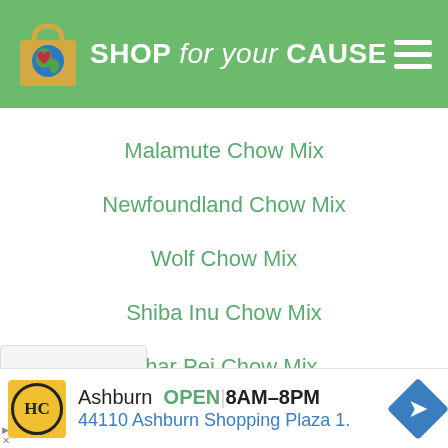SHOP for your CAUSE
Malamute Chow Mix
Newfoundland Chow Mix
Wolf Chow Mix
Shiba Inu Chow Mix
Shar Pei Chow Mix
Ashburn  OPEN  8AM–8PM  44110 Ashburn Shopping Plaza 1.